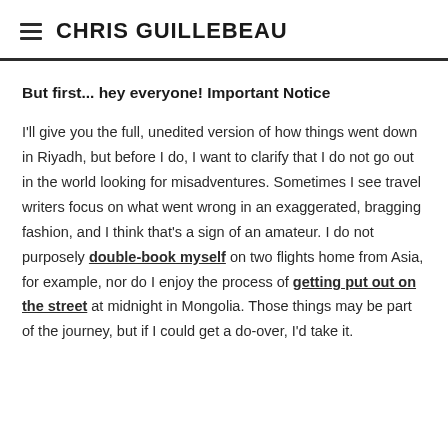CHRIS GUILLEBEAU
But first... hey everyone! Important Notice
I'll give you the full, unedited version of how things went down in Riyadh, but before I do, I want to clarify that I do not go out in the world looking for misadventures. Sometimes I see travel writers focus on what went wrong in an exaggerated, bragging fashion, and I think that's a sign of an amateur. I do not purposely double-book myself on two flights home from Asia, for example, nor do I enjoy the process of getting put out on the street at midnight in Mongolia. Those things may be part of the journey, but if I could get a do-over, I'd take it.